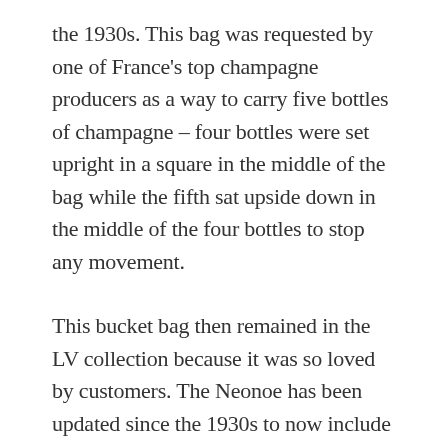the 1930s. This bag was requested by one of France's top champagne producers as a way to carry five bottles of champagne – four bottles were set upright in a square in the middle of the bag while the fifth sat upside down in the middle of the four bottles to stop any movement.
This bucket bag then remained in the LV collection because it was so loved by customers. The Neonoe has been updated since the 1930s to now include a central zip compartment to help you stay organized as well as a removable and adjustable strap for complete practicality.